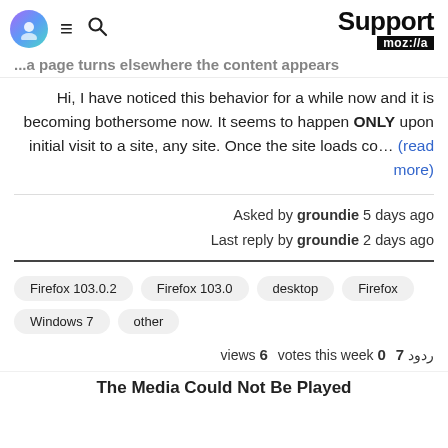Support moz://a
...a page turns elsewhere the content appears
Hi, I have noticed this behavior for a while now and it is becoming bothersome now. It seems to happen ONLY upon initial visit to a site, any site. Once the site loads co... (read more)
Asked by groundie 5 days ago
Last reply by groundie 2 days ago
Firefox 103.0.2  Firefox 103.0  desktop  Firefox  Windows 7  other
views 6  votes this week 0  ردود 7
The Media Could Not Be Played